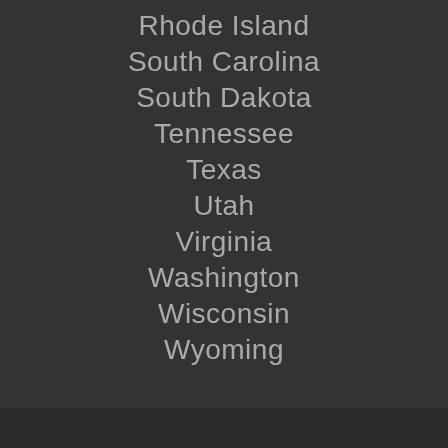Rhode Island
South Carolina
South Dakota
Tennessee
Texas
Utah
Virginia
Washington
Wisconsin
Wyoming